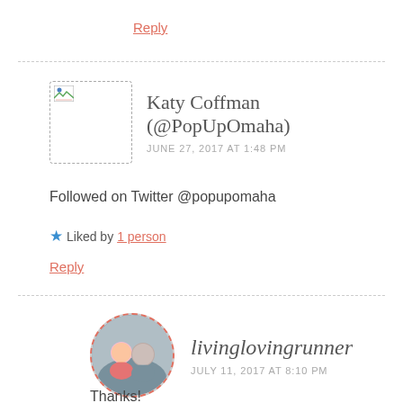Reply
Katy Coffman (@PopUpOmaha)
JUNE 27, 2017 AT 1:48 PM
Followed on Twitter @popupomaha
★ Liked by 1 person
Reply
livinglovingrunner
JULY 11, 2017 AT 8:10 PM
Thanks!